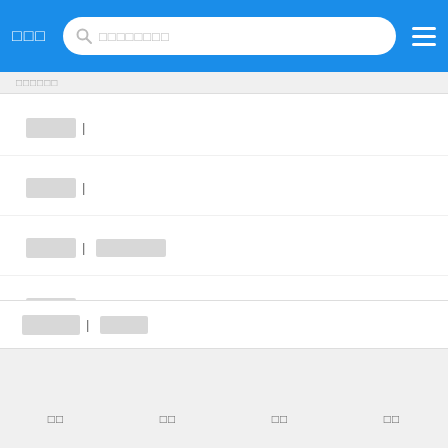□□□ [search bar: □□□□□□□□] [menu icon]
|□□□ |
|□□□ |
|□□□ | □□□□□□□
|□□□ |
|□□□ |
- - - - - - - - -
|□□□□| □□□□
□□  □□  □□  □□